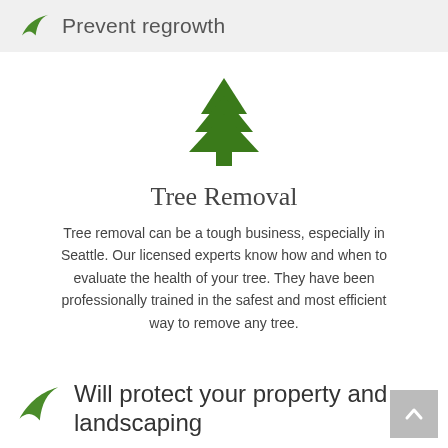Prevent regrowth
[Figure (illustration): Green pine/Christmas tree icon centered on page]
Tree Removal
Tree removal can be a tough business, especially in Seattle. Our licensed experts know how and when to evaluate the health of your tree. They have been professionally trained in the safest and most efficient way to remove any tree.
Will protect your property and landscaping